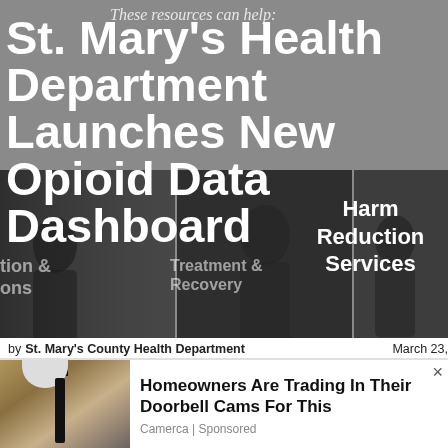St. Mary's Health Department Launches New Opioid Data Dashboard
These resources can help:
Harm Reduction Services
by St. Mary's County Health Department   March 23, 2021
GRES   LOCAL TREATMENT &   NALOXONE (NARCAN) INFO
Tweet   Print   Share   Post   Save
Email
RESOURCES   MARYLAND SERVICE   SYRINGE SERVICES
E & DISPOSAL   BEFORE IT'S TOO LATE ·   HIV & HEPATITIS C
[Figure (photo): Advertisement showing a doorbell camera on a stone wall]
Homeowners Are Trading In Their Doorbell Cams For This
Camerca | Sponsored